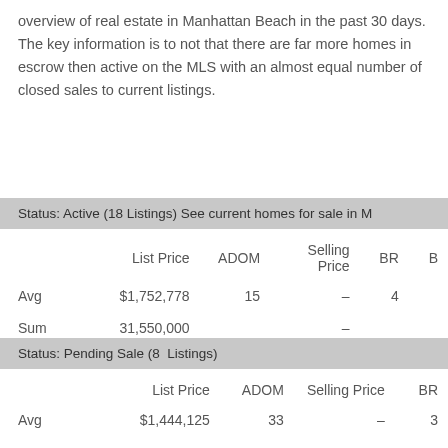overview of real estate in Manhattan Beach in the past 30 days.  The key information is to not that there are far more homes in escrow then active on the MLS with an almost equal number of closed sales to current listings.
Status: Active (18 Listings) See current homes for sale in M
|  | List Price | ADOM | Selling Price | BR | B |
| --- | --- | --- | --- | --- | --- |
| Avg | $1,752,778 | 15 | – | 4 |  |
| Sum | 31,550,000 |  | – |  |  |
Status: Pending Sale (8  Listings)
|  | List Price | ADOM | Selling Price | BR |
| --- | --- | --- | --- | --- |
| Avg | $1,444,125 | 33 | – | 3 |  |